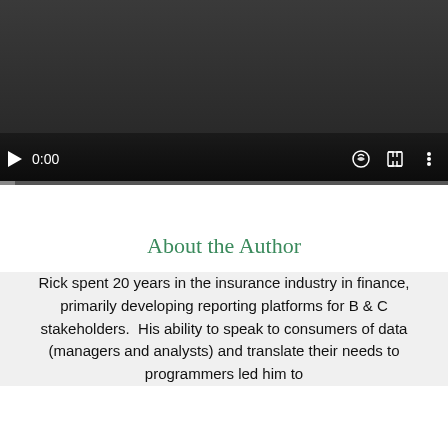[Figure (screenshot): Video player with dark background showing paused state at 0:00, with play button, time display, volume, fullscreen, and menu icons, and a progress bar at the bottom]
About the Author
Rick spent 20 years in the insurance industry in finance, primarily developing reporting platforms for B & C stakeholders.  His ability to speak to consumers of data (managers and analysts) and translate their needs to programmers led him to